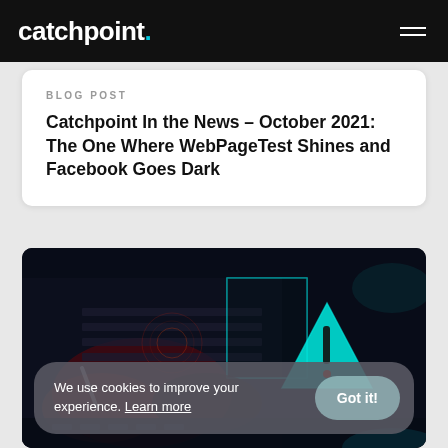catchpoint.
BLOG POST
Catchpoint In the News – October 2021: The One Where WebPageTest Shines and Facebook Goes Dark
[Figure (photo): Dark tech background image with glowing cyan/teal warning triangle containing an exclamation mark, overlaid on server/computer hardware imagery with red and cyan lighting effects]
We use cookies to improve your experience. Learn more